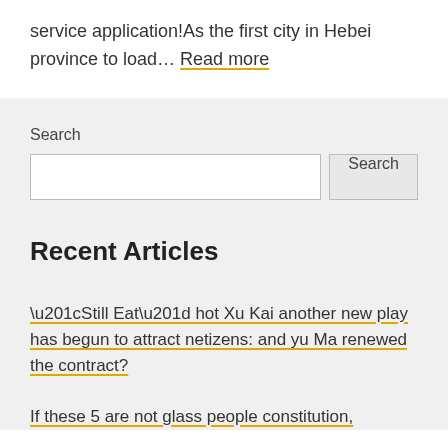service application!As the first city in Hebei province to load… Read more
Search
Search input and button
Recent Articles
“Still Eat” hot Xu Kai another new play has begun to attract netizens: and yu Ma renewed the contract?
If these 5 are not glass people constitution,